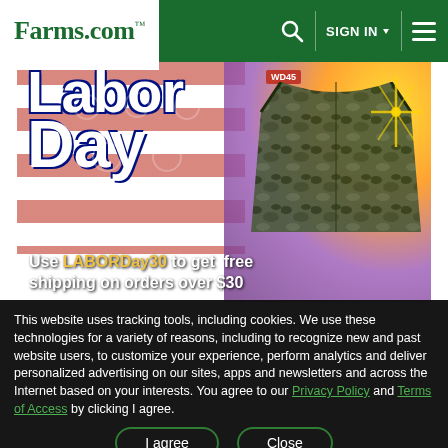Farms.com | SIGN IN | Menu
[Figure (photo): Labor Day promotional banner with American flag background, camo jacket, WD45 label, sparkle effects, and text: Use LABORDay30 to get free shipping on orders over $30]
This website uses tracking tools, including cookies. We use these technologies for a variety of reasons, including to recognize new and past website users, to customize your experience, perform analytics and deliver personalized advertising on our sites, apps and newsletters and across the Internet based on your interests. You agree to our Privacy Policy and Terms of Access by clicking I agree.
I agree | Close